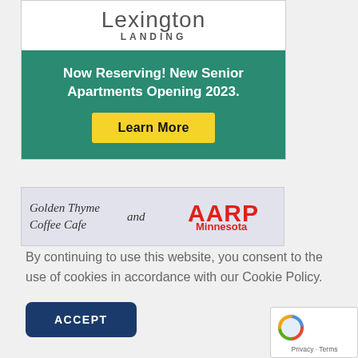[Figure (advertisement): Lexington Landing apartment ad with teal background. Text: 'Now Reserving! New Senior Apartments Opening 2023.' with a yellow 'Learn More' button.]
[Figure (advertisement): Golden Thyme Coffee Cafe and AARP Minnesota partnership banner ad.]
By continuing to use this website, you consent to the use of cookies in accordance with our Cookie Policy.
[Figure (other): ACCEPT button for cookie consent.]
[Figure (other): reCAPTCHA widget with Privacy and Terms links.]